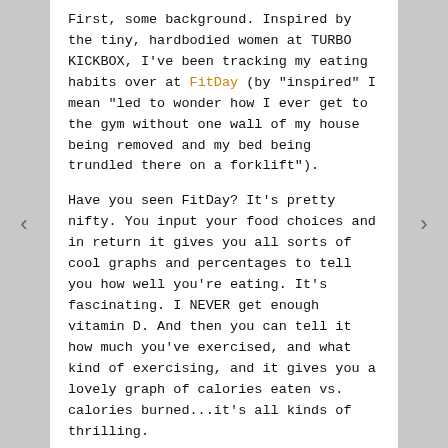First, some background. Inspired by the tiny, hardbodied women at TURBO KICKBOX, I've been tracking my eating habits over at FitDay (by "inspired" I mean "led to wonder how I ever get to the gym without one wall of my house being removed and my bed being trundled there on a forklift").
Have you seen FitDay? It's pretty nifty. You input your food choices and in return it gives you all sorts of cool graphs and percentages to tell you how well you're eating. It's fascinating. I NEVER get enough vitamin D. And then you can tell it how much you've exercised, and what kind of exercising, and it gives you a lovely graph of calories eaten vs. calories burned...it's all kinds of thrilling.
Anyhow, one of the annoying things about it is that they don't have all the specific foods I eat in their little database. Or if they do, they can be hard to find. I spend more time than I should scrolling through page after page